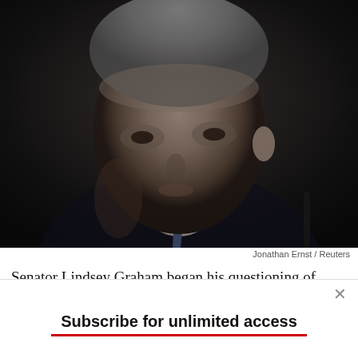[Figure (photo): Black and white photo of James Mattis, an older white man with gray hair, wearing a dark suit and blue tie, looking slightly downward to the right against a dark background.]
Jonathan Ernst / Reuters
Senator Lindsey Graham began his questioning of James Mattis by asking the defense secretary nominee for his views on the capital of the Jewish state—a soon-to-be-contentious issue, given President-
Subscribe for unlimited access